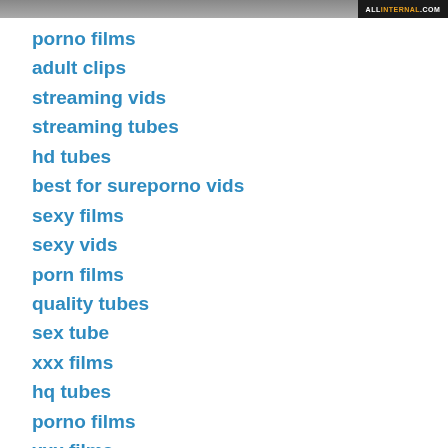[Figure (photo): Top banner image with dark bar on right showing ALLINTERNAL.COM text]
porno films
adult clips
streaming vids
streaming tubes
hd tubes
best for sureporno vids
sexy films
sexy vids
porn films
quality tubes
sex tube
xxx films
hq tubes
porno films
xxx films
porn clips